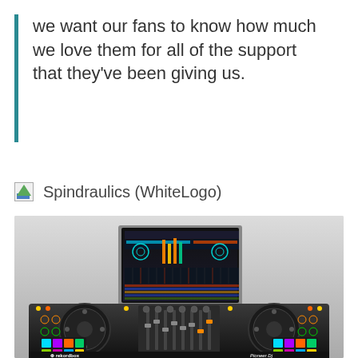we want our fans to know how much we love them for all of the support that they've been giving us.
[Figure (logo): Spindraulics (WhiteLogo) — broken image icon followed by the text 'Spindraulics (WhiteLogo)']
[Figure (photo): Pioneer DJ controller (DDJ-1000) with rekordbox branding, paired with a laptop displaying DJ software. The controller has colorful pads, jog wheels, and faders on a grey gradient background.]